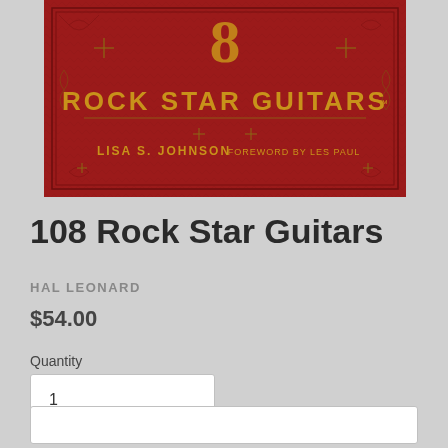[Figure (illustration): Book cover of '108 Rock Star Guitars' by Lisa S. Johnson, foreword by Les Paul. Red embossed cover with gold ornamental designs and the number 8 at the top, with 'ROCK STAR GUITARS' in gold letters and author and foreword credits below.]
108 Rock Star Guitars
HAL LEONARD
$54.00
Quantity